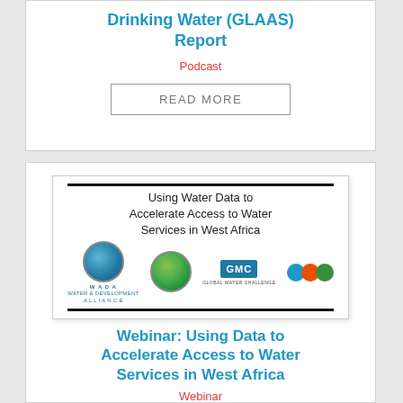Drinking Water (GLAAS) Report
Podcast
READ MORE
[Figure (illustration): Webinar slide cover image: Using Water Data to Accelerate Access to Water Services in West Africa, with logos of WADA, Sierra Leone, GMC, and Water Point Data Exchange]
Webinar: Using Data to Accelerate Access to Water Services in West Africa
Webinar